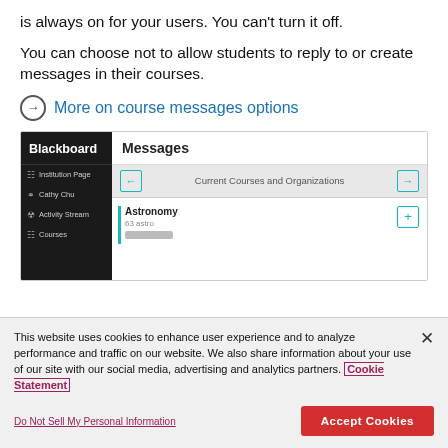is always on for your users. You can't turn it off.
You can choose not to allow students to reply to or create messages in their courses.
More on course messages options
[Figure (screenshot): Blackboard Learn interface screenshot showing the Messages section with Current Courses and Organizations navigation, and an Astronomy course listed with a teal accent bar.]
This website uses cookies to enhance user experience and to analyze performance and traffic on our website. We also share information about your use of our site with our social media, advertising and analytics partners. Cookie Statement
Do Not Sell My Personal Information
Accept Cookies